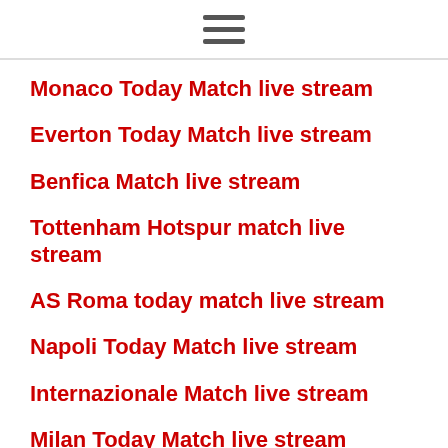☰
Monaco Today Match live stream
Everton Today Match live stream
Benfica Match live stream
Tottenham Hotspur match live stream
AS Roma today match live stream
Napoli Today Match live stream
Internazionale Match live stream
Milan Today Match live stream
Manchester United Match live
Atalanta Live stream